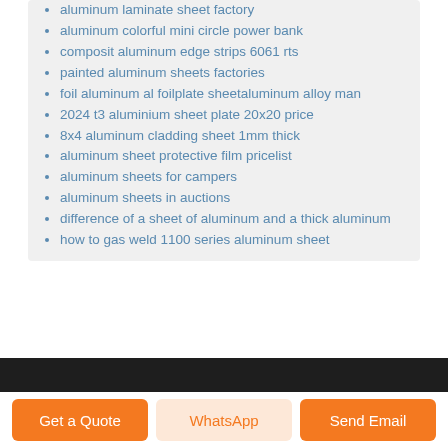aluminum laminate sheet factory
aluminum colorful mini circle power bank
composit aluminum edge strips 6061 rts
painted aluminum sheets factories
foil aluminum al foilplate sheetaluminum alloy man
2024 t3 aluminium sheet plate 20x20 price
8x4 aluminum cladding sheet 1mm thick
aluminum sheet protective film pricelist
aluminum sheets for campers
aluminum sheets in auctions
difference of a sheet of aluminum and a thick aluminum
how to gas weld 1100 series aluminum sheet
Get a Quote | WhatsApp | Send Email